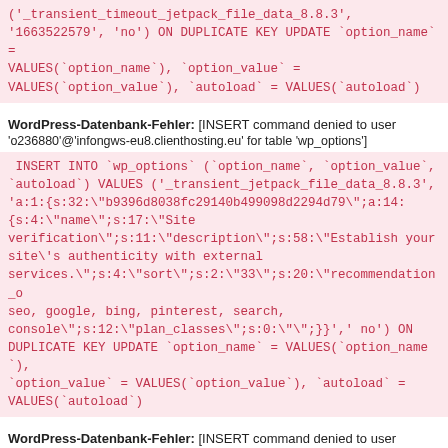('_transient_timeout_jetpack_file_data_8.8.3', '1663522579', 'no') ON DUPLICATE KEY UPDATE `option_name` = VALUES(`option_name`), `option_value` = VALUES(`option_value`), `autoload` = VALUES(`autoload`)
WordPress-Datenbank-Fehler: [INSERT command denied to user 'o236880'@'infongws-eu8.clienthosting.eu' for table 'wp_options']
INSERT INTO `wp_options` (`option_name`, `option_value`, `autoload`) VALUES ('_transient_jetpack_file_data_8.8.3', 'a:1:{s:32:"b9396d8038fc29140b499098d2294d79";a:14:{s:4:"name";s:17:"Site verification";s:11:"description";s:58:"Establish your site\'s authenticity with external services.";s:4:"sort";s:2:"33";s:20:"recommendation_o seo, google, bing, pinterest, search, console";s:12:"plan_classes";s:0:"";}}',' no') ON DUPLICATE KEY UPDATE `option_name` = VALUES(`option_name`), `option_value` = VALUES(`option_value`), `autoload` = VALUES(`autoload`)
WordPress-Datenbank-Fehler: [INSERT command denied to user 'o236880'@'infongws-eu8.clienthosting.eu' for table 'wp_options']
INSERT INTO `wp_options` (`option_name`, `option_value`, `autoload`) VALUES ('_transient_timeout_jetpack_file_data_8.8.3',